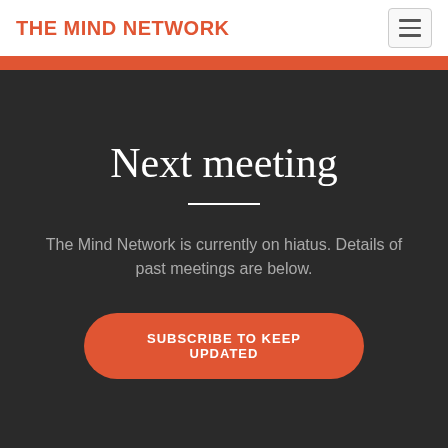THE MIND NETWORK
Next meeting
The Mind Network is currently on hiatus. Details of past meetings are below.
SUBSCRIBE TO KEEP UPDATED